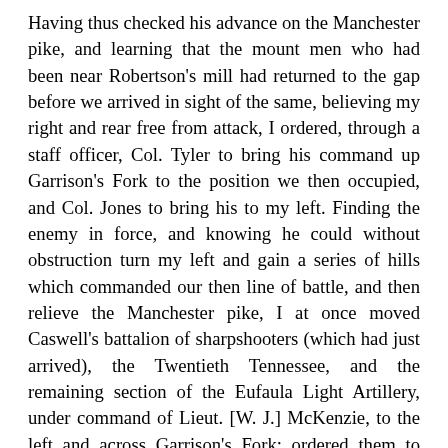Having thus checked his advance on the Manchester pike, and learning that the mount men who had been near Robertson's mill had returned to the gap before we arrived in sight of the same, believing my right and rear free from attack, I ordered, through a staff officer, Col. Tyler to bring his command up Garrison's Fork to the position we then occupied, and Col. Jones to bring his to my left. Finding the enemy in force, and knowing he could without obstruction turn my left and gain a series of hills which commanded our then line of battle, and then relieve the Manchester pike, I at once moved Caswell's battalion of sharpshooters (which had just arrived), the Twentieth Tennessee, and the remaining section of the Eufaula Light Artillery, under command of Lieut. [W. J.] McKenzie, to the left and across Garrison's Fork; ordered them to advance and drive the enemy before he should get a lodgment on the hills. My suspicion as to his probable movement was correct. He was advancing in force to gain the hills and turn our left. He was met with such spirit and resolution by these little commands, each playing its part most handsomely, that